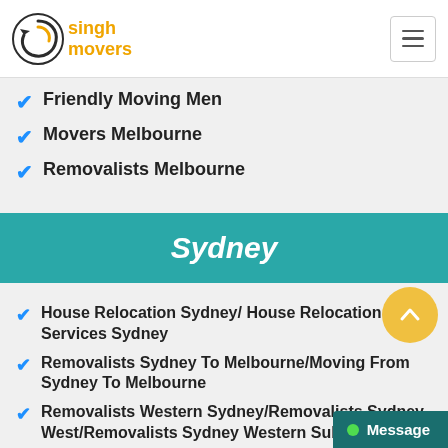[Figure (logo): Singh Movers logo with circular arrow icon and yellow/orange text]
Friendly Moving Men
Movers Melbourne
Removalists Melbourne
Sydney
House Relocation Sydney/ House Relocation Services Sydney
Removalists Sydney To Melbourne/Moving From Sydney To Melbourne
Removalists Western Sydney/Removalists Sydney West/Removalists Sydney Western Suburbs